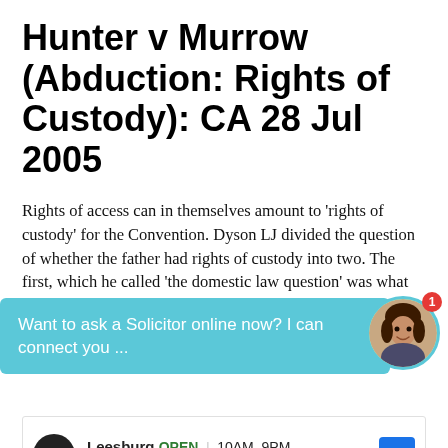Hunter v Murrow (Abduction: Rights of Custody): CA 28 Jul 2005
Rights of access can in themselves amount to ‘rights of custody’ for the Convention. Dyson LJ divided the question of whether the father had rights of custody into two. The first, which he called ‘the domestic law question’ was what rights the
[Figure (other): Chat overlay widget with avatar photo, badge showing 1 notification, and text: Want to ask a Solicitor online now? I can connect you ...]
Continue reading
[Figure (other): Advertisement box showing Leesburg location, OPEN 10AM-9PM, 241 Fort Evans Rd NE, Leesburg, with navigation arrow button and store logo icon]